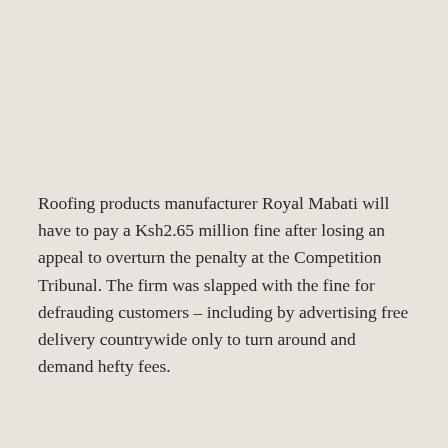Roofing products manufacturer Royal Mabati will have to pay a Ksh2.65 million fine after losing an appeal to overturn the penalty at the Competition Tribunal. The firm was slapped with the fine for defrauding customers – including by advertising free delivery countrywide only to turn around and demand hefty fees.